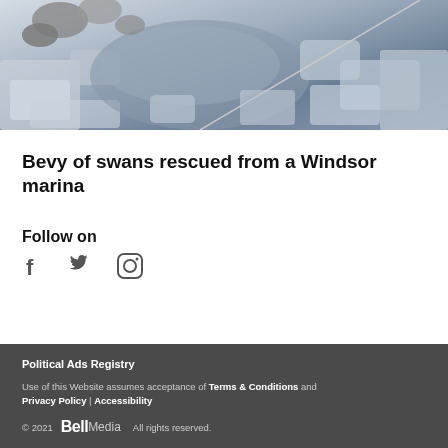[Figure (photo): Icy water scene with rocks and a rope visible, showing swans or winter rescue scenario at a marina]
Bevy of swans rescued from a Windsor marina
Follow on
[Figure (other): Social media icons: Facebook, Twitter, Instagram]
Political Ads Registry
Use of this Website assumes acceptance of Terms & Conditions and Privacy Policy | Accessibility
© 2021  Bell Media  All rights reserved.